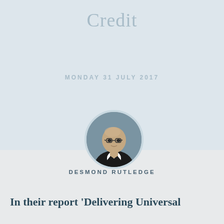Credit
MONDAY 31 JULY 2017
[Figure (photo): Circular headshot portrait of Desmond Rutledge, a middle-aged bald man wearing glasses and a dark blazer with white shirt]
DESMOND RUTLEDGE
In their report 'Delivering Universal